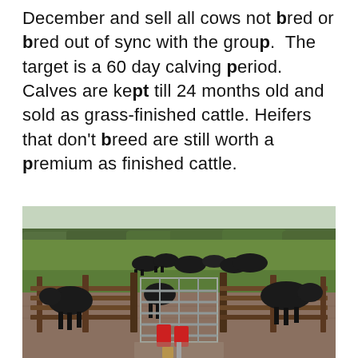December and sell all cows not bred or bred out of sync with the group. The target is a 60 day calving period. Calves are kept till 24 months old and sold as grass-finished cattle. Heifers that don't breed are still worth a premium as finished cattle.
[Figure (photo): A farm scene showing black cattle in a green field with wooden fence panels and a metal gate in the foreground, with trees visible in the background.]